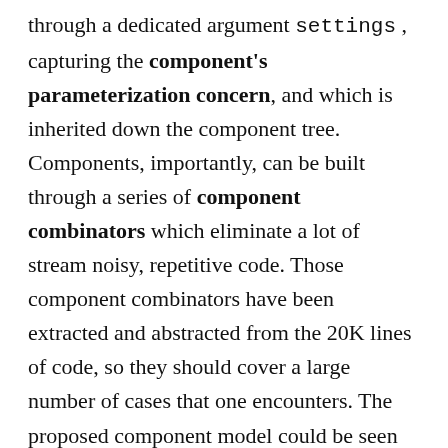through a dedicated argument settings , capturing the component's parameterization concern, and which is inherited down the component tree. Components, importantly, can be built through a series of component combinators which eliminate a lot of stream noisy, repetitive code. Those component combinators have been extracted and abstracted from the 20K lines of code, so they should cover a large number of cases that one encounters. The proposed component model could be seen in many ways as a generalization of that of React , extending it to handle concerns other than the view, which opens the door to using a JSX -like syntax if you so fancy. The component model also sets up the work for tracing and visualization tools for the component, allowing to simplify the...